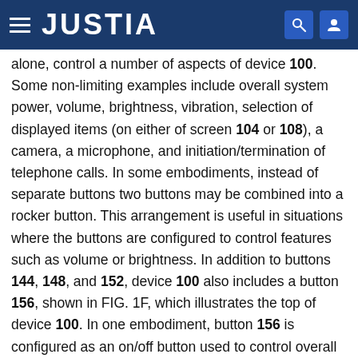JUSTIA
alone, control a number of aspects of device 100. Some non-limiting examples include overall system power, volume, brightness, vibration, selection of displayed items (on either of screen 104 or 108), a camera, a microphone, and initiation/termination of telephone calls. In some embodiments, instead of separate buttons two buttons may be combined into a rocker button. This arrangement is useful in situations where the buttons are configured to control features such as volume or brightness. In addition to buttons 144, 148, and 152, device 100 also includes a button 156, shown in FIG. 1F, which illustrates the top of device 100. In one embodiment, button 156 is configured as an on/off button used to control overall system power to device 100. In other embodiments, button 156 is configured to, in addition to or in lieu of controlling system power, control other aspects of device 100. In some